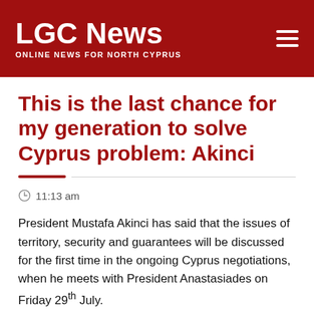LGC News — ONLINE NEWS FOR NORTH CYPRUS
This is the last chance for my generation to solve Cyprus problem: Akinci
11:13 am
President Mustafa Akinci has said that the issues of territory, security and guarantees will be discussed for the first time in the ongoing Cyprus negotiations, when he meets with President Anastasiades on Friday 29th July.
Speaking to journalists after his meeting with President Anastasiades, Akinci has said that...